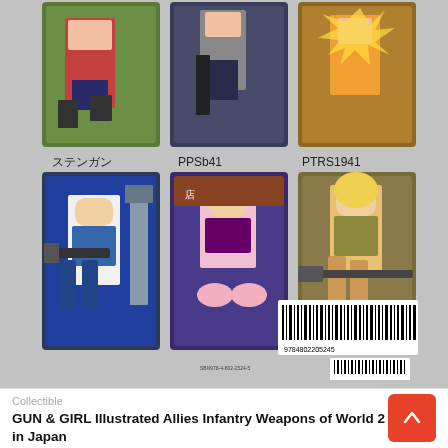[Figure (photo): Back cover of a Japanese book showing anime-style illustrated trading cards of gun-wielding female characters. Six cards visible arranged in 2 rows of 3. Labels include Japanese text (ステンガン), PPSb41, PTRS1941. Barcodes visible at bottom right: 9784802205245.]
Collectible
GUN & GIRL Illustrated Allies Infantry Weapons of World 2 | Made in Japan